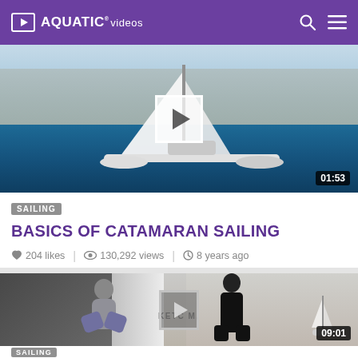AQUATIC videos
[Figure (screenshot): Video thumbnail of a catamaran sailboat on water with city skyline in background, play button overlay, duration 01:53]
SAILING
BASICS OF CATAMARAN SAILING
204 likes | 130,292 views | 8 years ago
[Figure (screenshot): Video thumbnail showing two people on a boat deck with a sailboat in background, play button overlay, duration 09:01]
SAILING